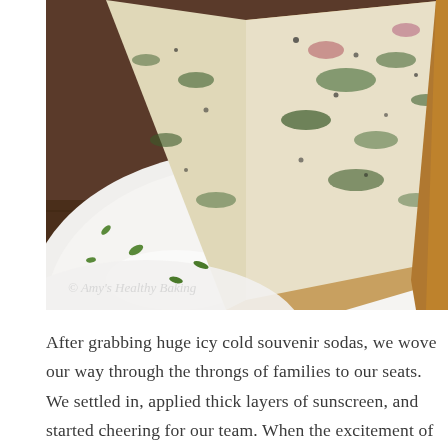[Figure (photo): Close-up photo of slices of vegetable frittata or quiche with spinach, broccoli, and ham on a white plate, garnished with chopped green herbs. Photo watermarked '© Amy's Healthy Baking'.]
After grabbing huge icy cold souvenir sodas, we wove our way through the throngs of families to our seats. We settled in, applied thick layers of sunscreen, and started cheering for our team. When the excitement of the two-out rally in the